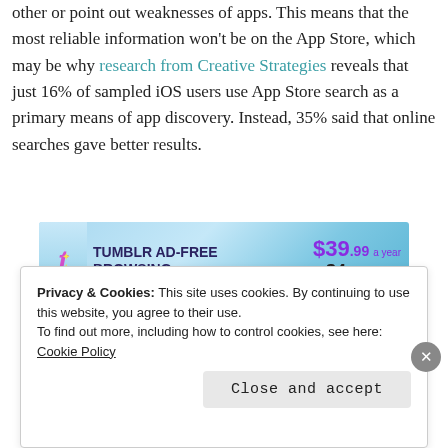other or point out weaknesses of apps. This means that the most reliable information won't be on the App Store, which may be why research from Creative Strategies reveals that just 16% of sampled iOS users use App Store search as a primary means of app discovery. Instead, 35% said that online searches gave better results.
[Figure (advertisement): Tumblr Ad-Free Browsing advertisement banner — $39.99 a year or $4.99 a month]
Privacy & Cookies: This site uses cookies. By continuing to use this website, you agree to their use. To find out more, including how to control cookies, see here: Cookie Policy
Close and accept